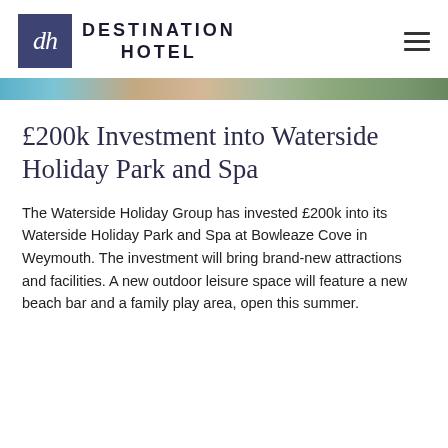DESTINATION HOTEL
[Figure (photo): Narrow horizontal strip showing a blurred scenic image — portions of blue sky/water, sandy/warm tones, and green vegetation visible]
£200k Investment into Waterside Holiday Park and Spa
The Waterside Holiday Group has invested £200k into its Waterside Holiday Park and Spa at Bowleaze Cove in Weymouth. The investment will bring brand-new attractions and facilities. A new outdoor leisure space will feature a new beach bar and a family play area, open this summer.